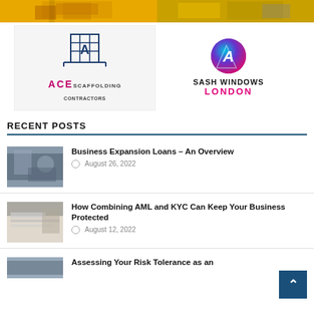[Figure (photo): Two cropped yellow/construction themed images at the top of the page side by side]
[Figure (logo): ACE Scaffolding Contractors logo with scaffolding grid icon and pink/magenta text]
[Figure (logo): Sash Windows London logo with colorful circular 'A' icon and pink LONDON text]
RECENT POSTS
[Figure (photo): Woman working at laptop - thumbnail for Business Expansion Loans post]
Business Expansion Loans – An Overview
August 26, 2022
[Figure (photo): Hands writing on paper - thumbnail for How Combining AML and KYC post]
How Combining AML and KYC Can Keep Your Business Protected
August 12, 2022
[Figure (photo): Partial thumbnail for Assessing Your Risk Tolerance post at bottom]